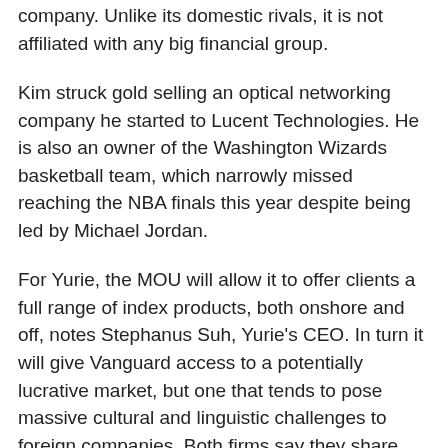company. Unlike its domestic rivals, it is not affiliated with any big financial group.
Kim struck gold selling an optical networking company he started to Lucent Technologies. He is also an owner of the Washington Wizards basketball team, which narrowly missed reaching the NBA finals this year despite being led by Michael Jordan.
For Yurie, the MOU will allow it to offer clients a full range of index products, both onshore and off, notes Stephanus Suh, Yurie's CEO. In turn it will give Vanguard access to a potentially lucrative market, but one that tends to pose massive cultural and linguistic challenges to foreign companies. Both firms say they share common values.
The deal also allows both firms to take on their